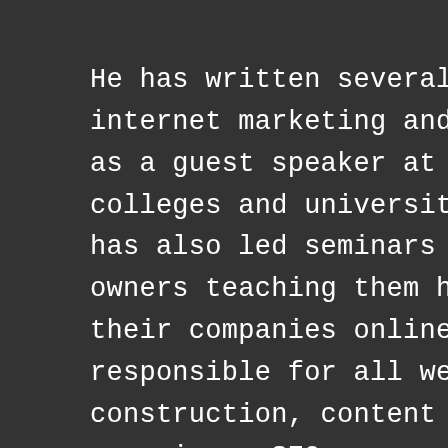He has written several articles on internet marketing and has served as a guest speaker at several colleges and universities. Bruce has also led seminars for business owners teaching them how to market their companies online. Bruce is responsible for all web construction, content and campaigns; SEO management; social media and for driving online traffic to the franchisees' stores and websites.